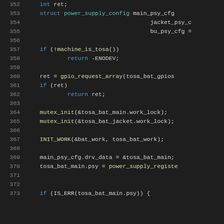[Figure (screenshot): Source code listing showing C code lines 352-373, with syntax highlighting on a dark background. Line numbers in gray on the left, keywords in blue, function names in yellow, variables in light blue.]